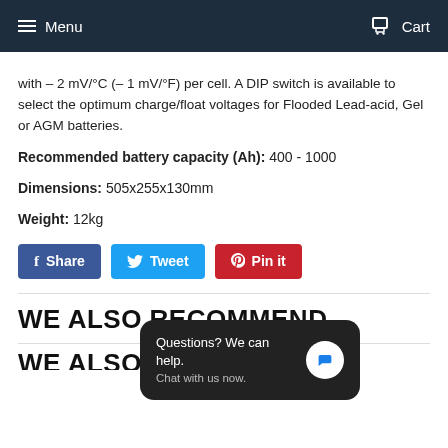Menu  Cart
with – 2 mV/°C (– 1 mV/°F) per cell. A DIP switch is available to select the optimum charge/float voltages for Flooded Lead-acid, Gel or AGM batteries.
Recommended battery capacity (Ah): 400 - 1000
Dimensions: 505x255x130mm
Weight: 12kg
[Figure (other): Social sharing buttons: Share (Facebook, blue), Tweet (Twitter, light blue), Pin it (Pinterest, red)]
WE ALSO RECOMMEND
[Figure (other): Chat widget overlay: 'Questions? We can help. Chat with us now.' with a blue speech bubble icon on dark rounded rectangle]
WE ALSO RECOMMEND (partially visible at bottom)